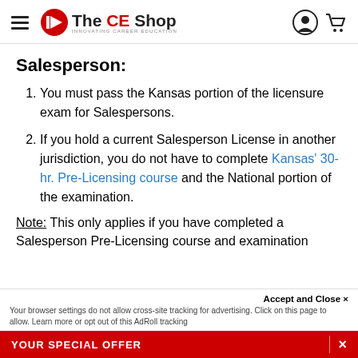The CE Shop
Salesperson:
You must pass the Kansas portion of the licensure exam for Salespersons.
If you hold a current Salesperson License in another jurisdiction, you do not have to complete Kansas' 30-hr. Pre-Licensing course and the National portion of the examination.
Note: This only applies if you have completed a Salesperson Pre-Licensing course and examination
Accept and Close ×  Your browser settings do not allow cross-site tracking for advertising. Click on this page to allow. Learn more or opt out of this AdRoll tracking  YOUR SPECIAL OFFER  ×